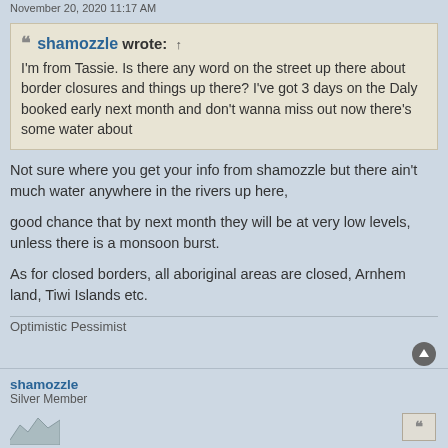November 20, 2020 11:17 AM
❝ shamozzle wrote: ↑
I'm from Tassie. Is there any word on the street up there about border closures and things up there? I've got 3 days on the Daly booked early next month and don't wanna miss out now there's some water about
Not sure where you get your info from shamozzle but there ain't much water anywhere in the rivers up here,
good chance that by next month they will be at very low levels, unless there is a monsoon burst.
As for closed borders, all aboriginal areas are closed, Arnhem land, Tiwi Islands etc.
Optimistic Pessimist
shamozzle
Silver Member